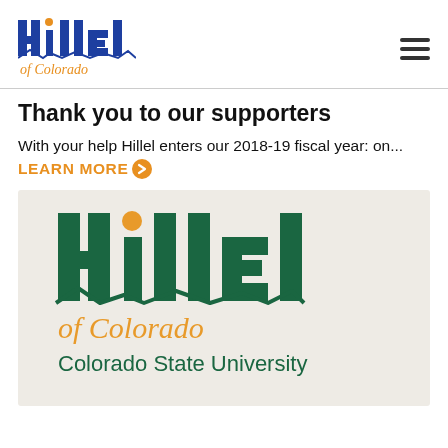Hillel of Colorado
Thank you to our supporters
With your help Hillel enters our 2018-19 fiscal year: on... LEARN MORE
[Figure (logo): Hillel of Colorado – Colorado State University logo on a light beige background. Shows the Hillel wordmark in dark green with a golden dot above the letter i, mountain silhouette motif at base of letters, text 'of Colorado' in orange/gold cursive, and 'Colorado State University' in dark green sans-serif.]